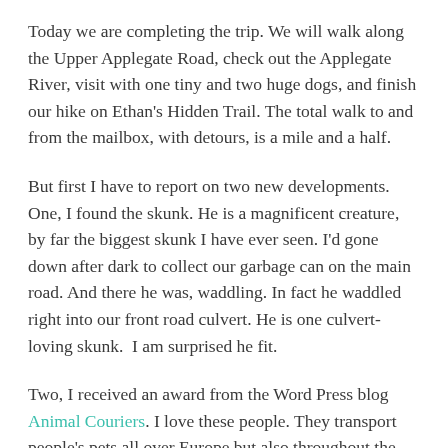Today we are completing the trip. We will walk along the Upper Applegate Road, check out the Applegate River, visit with one tiny and two huge dogs, and finish our hike on Ethan's Hidden Trail. The total walk to and from the mailbox, with detours, is a mile and a half.
But first I have to report on two new developments. One, I found the skunk. He is a magnificent creature, by far the biggest skunk I have ever seen. I'd gone down after dark to collect our garbage can on the main road. And there he was, waddling. In fact he waddled right into our front road culvert. He is one culvert-loving skunk.  I am surprised he fit.
Two, I received an award from the Word Press blog Animal Couriers. I love these people. They transport people's pets all over Europe but also throughout the